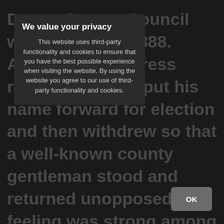Devon County Council was created in 1888. According to a press report, however, put his name forward for election and then withdrew so that a well-known county gentleman stood and returned unopposed. The feeling was strong among the farmers, however, that he should be their representative that a requisition signed by nearly a half of all the electors was presented to him, inviting him to stand, and he was returned by a decisive majority in February 1899. When the youthful
We value your privacy
This website uses third-party functionality and cookies to ensure that you have the best possible experience when visiting the website. By using the website you agree to our use of third-party functionality and cookies.
OK